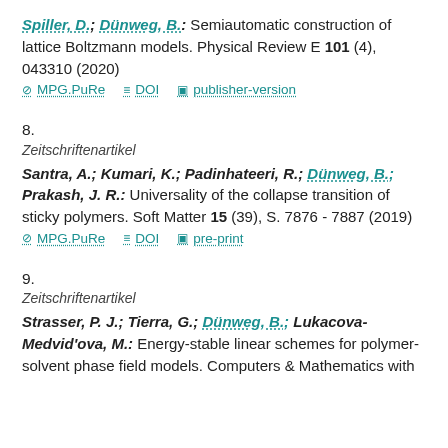Spiller, D.; Dünweg, B.: Semiautomatic construction of lattice Boltzmann models. Physical Review E 101 (4), 043310 (2020)
MPG.PuRe   DOI   publisher-version
8.
Zeitschriftenartikel
Santra, A.; Kumari, K.; Padinhateeri, R.; Dünweg, B.; Prakash, J. R.: Universality of the collapse transition of sticky polymers. Soft Matter 15 (39), S. 7876 - 7887 (2019)
MPG.PuRe   DOI   pre-print
9.
Zeitschriftenartikel
Strasser, P. J.; Tierra, G.; Dünweg, B.; Lukacova-Medvid'ova, M.: Energy-stable linear schemes for polymer-solvent phase field models. Computers & Mathematics with